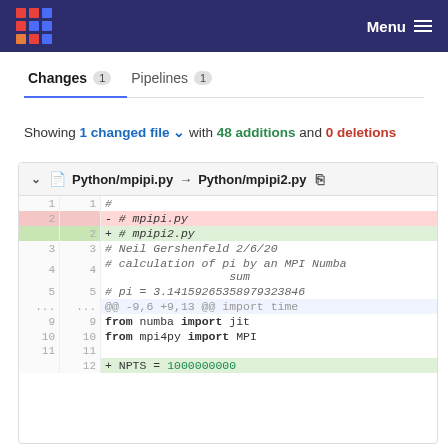Menu
Changes 1   Pipelines 1
Showing 1 changed file  with 48 additions and 0 deletions
[Figure (screenshot): Git diff view showing Python/mpipi.py → Python/mpipi2.py with line numbers, deletions (- # mpipi.py) in red and additions (+ # mpipi2.py) in green, followed by context lines including comments, from/import statements, and a partial view of NPTS = 1000000000 line.]